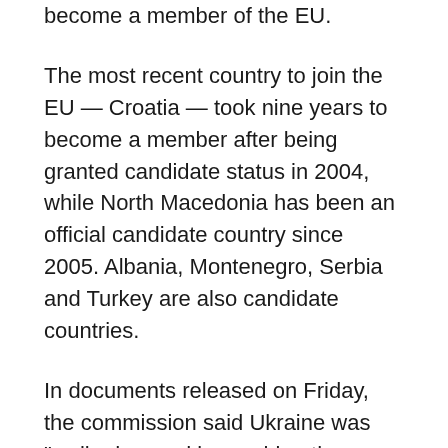become a member of the EU.
The most recent country to join the EU — Croatia — took nine years to become a member after being granted candidate status in 2004, while North Macedonia has been an official candidate country since 2005. Albania, Montenegro, Serbia and Turkey are also candidate countries.
In documents released on Friday, the commission said Ukraine was “well advanced in reaching the stability of institutions guaranteeing democracy, the rule of law, human rights and respect for and protection of minorities” and that it had “continued its strong macroeconomic record” despite Russia’s invasion.